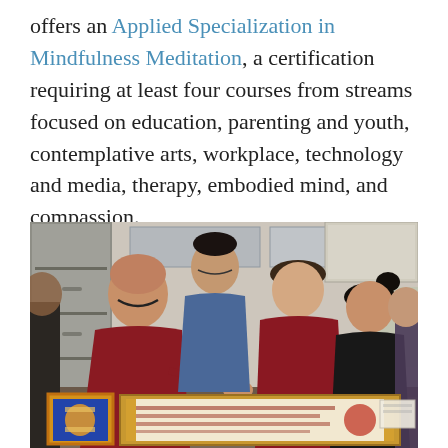offers an Applied Specialization in Mindfulness Meditation, a certification requiring at least four courses from streams focused on education, parenting and youth, contemplative arts, workplace, technology and media, therapy, embodied mind, and compassion.
[Figure (photo): A group of four to five people gathered around a table examining Tibetan Buddhist documents including a large scroll/manuscript and a thangka painting. The setting appears to be an archive or library storage room with filing cabinets and boxes in the background. A monk or scholar in a dark red sweater appears to be explaining something, while others including a woman in red and an Asian woman in black look on.]